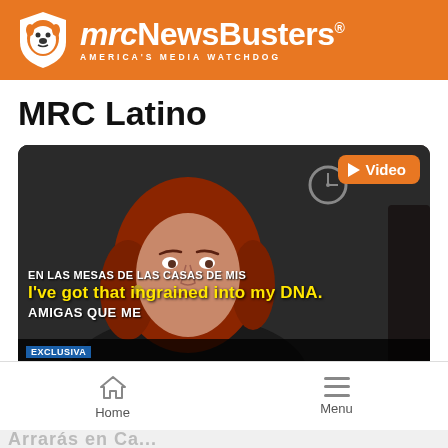[Figure (logo): mrcNewsBusters logo with orange shield and bulldog, white text, tagline AMERICA'S MEDIA WATCHDOG on orange background]
MRC Latino
[Figure (screenshot): Video thumbnail showing a woman with red hair, subtitle text 'I've got that ingrained into my DNA.' in yellow, background text 'EN LAS MESAS DE LAS CASAS DE MIS', 'AMIGAS QUE ME', EXCLUSIVA tag and headline 'MARIA CELESTE ARRARAS EN LISTA PARA POSIBLE CANDIDATURA'. Orange Video badge with play icon in top right corner.]
Home   Menu